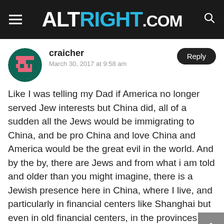ALTRIGHT.COM
craicher
March 30, 2017 at 9:58 am
Like I was telling my Dad if America no longer served Jew interests but China did, all of a sudden all the Jews would be immigrating to China, and be pro China and love China and America would be the great evil in the world. And by the by, there are Jews and from what i am told and older than you might imagine, there is a Jewish presence here in China, where I live, and particularly in financial centers like Shanghai but even in old financial centers, in the provinces like Luoyang.